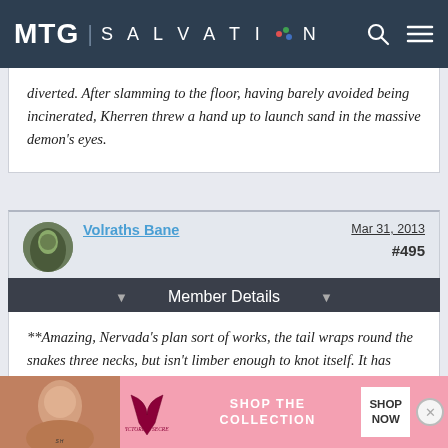MTG SALVATION
diverted. After slamming to the floor, having barely avoided being incinerated, Kherren threw a hand up to launch sand in the massive demon's eyes.
Volraths Bane   Mar 31, 2013   #495
Member Details
**Amazing, Nervada's plan sort of works, the tail wraps round the snakes three necks, but isn't limber enough to knot itself. It has however inhibited the snakes ability to aim their attacks at him.**
[Figure (photo): Victoria's Secret advertisement banner with model, logo, and SHOP THE COLLECTION / SHOP NOW button]